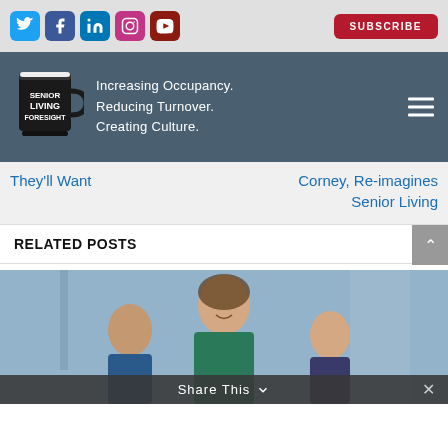[Figure (screenshot): Social media icons bar with Twitter, Facebook, LinkedIn, Instagram, YouTube icons and a Subscribe button]
[Figure (logo): Senior Living Foresight logo with coffee mug and tagline: Increasing Occupancy. Reducing Turnover. Creating Culture.]
They'll Want
Corney, Re-imagines Senior Living
RELATED POSTS
[Figure (photo): Photo of smiling medical/healthcare staff in scrubs]
Share This